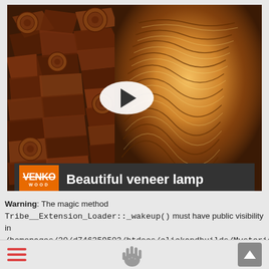[Figure (screenshot): Video thumbnail showing a veneer lamp on the right (glowing, wavy pattern) and stacked wood logs on the left. A white oval play button is centered. Below is a dark title bar with VENKO WOOD logo in orange and text 'Beautiful veneer lamp' in white.]
Warning: The magic method Tribe__Extension_Loader::_wakeup() must have public visibility in /homepages/20/d746359503/htdocs/clickandbuilds/MysteriousThings/content/plugins/the-events-calendar/common/src/Tribe/Extension_Loader.php on line 157
[Figure (screenshot): Bottom navigation bar with three red horizontal lines (hamburger menu) on the left, a hand/palmistry icon in the center, and a grey scroll-to-top arrow button on the right.]